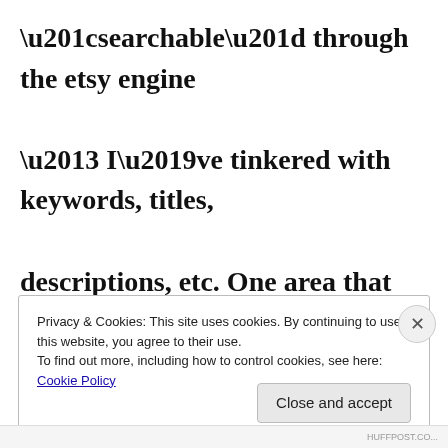“searchable” through the etsy engine – I’ve tinkered with keywords, titles, descriptions, etc. One area that was still unclear to me was the impact of relisting on views and sales.
Privacy & Cookies: This site uses cookies. By continuing to use this website, you agree to their use. To find out more, including how to control cookies, see here: Cookie Policy
Close and accept